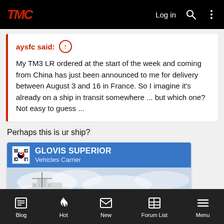TMC | Log in
aysfc said: ↑

My TM3 LR ordered at the start of the week and coming from China has just been announced to me for delivery between August 3 and 16 in France. So I imagine it's already on a ship in transit somewhere ... but which one? Not easy to guess ...
Perhaps this is ur ship?
[Figure (photo): Ship card showing GLOVIS SUPERIOR Vehicles Carrier with South Korean flag icon and a photo of a large white vehicle carrier ship against a cloudy sky]
Blog | Hot | New | Forum List | Menu